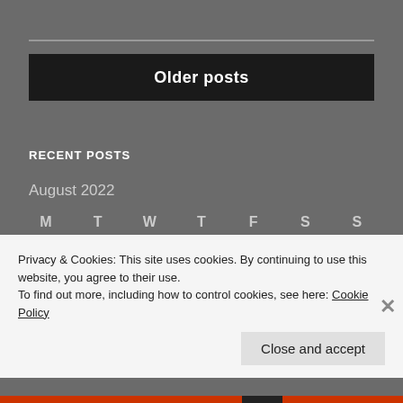Older posts
RECENT POSTS
August 2022
| M | T | W | T | F | S | S |
| --- | --- | --- | --- | --- | --- | --- |
| 1 | 2 | 3 | 4 | 5 | 6 | 7 |
Privacy & Cookies: This site uses cookies. By continuing to use this website, you agree to their use.
To find out more, including how to control cookies, see here: Cookie Policy
Close and accept